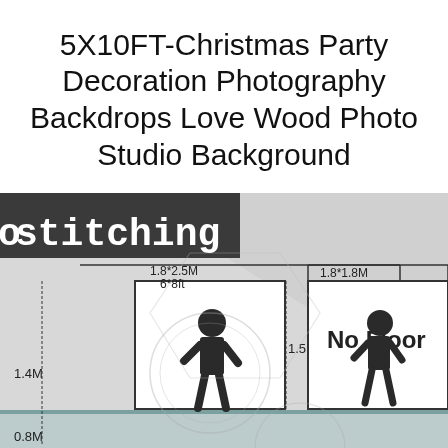5X10FT-Christmas Party Decoration Photography Backdrops Love Wood Photo Studio Background
[Figure (schematic): Photography backdrop size diagram showing two backdrop options: 1.8×2.5M (6×8ft) with a person silhouette and 1.8×1.8M (6×6ft) No Floor backdrop with a person silhouette. Labels show 1.4M and 1.5M heights, and 0.8M floor height. Text 'stitching' visible at top left. Watermark circle logo visible.]